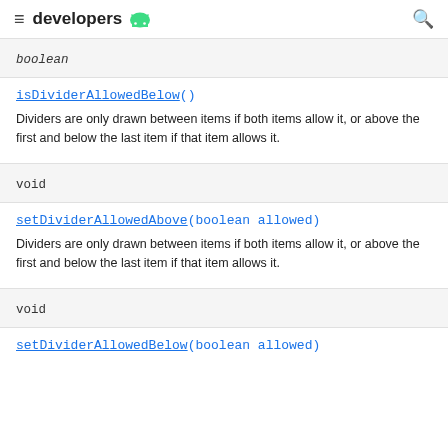developers
boolean
isDividerAllowedBelow()
Dividers are only drawn between items if both items allow it, or above the first and below the last item if that item allows it.
void
setDividerAllowedAbove(boolean allowed)
Dividers are only drawn between items if both items allow it, or above the first and below the last item if that item allows it.
void
setDividerAllowedBelow(boolean allowed)